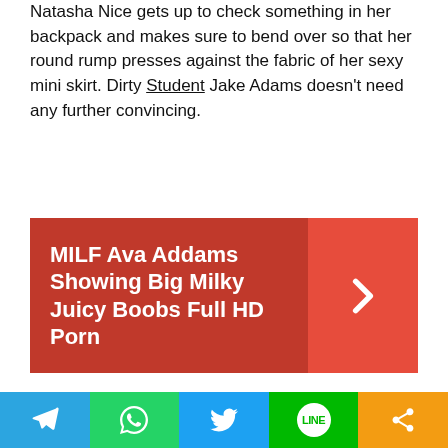Natasha Nice gets up to check something in her backpack and makes sure to bend over so that her round rump presses against the fabric of her sexy mini skirt. Dirty Student Jake Adams doesn't need any further convincing.
[Figure (infographic): Red advertisement banner: MILF Ava Addams Showing Big Milky Juicy Boobs Full HD Porn with a right-arrow chevron on darker red background]
He is got an obvious hardon that Sexy Tuition Teacher Natasha Nice reaches out and touches n a blatant invitation that he can have anything he wants in exchange for this job. They relocate to the bedroom to make their deal official, and as Tutor Crush Jake Adams unwraps Sexy Female Tutor Natasha Nice like the gift she is he finds layers of hotness beneath her clothes with the sexy lingerie.
Social share buttons: Telegram, WhatsApp, Twitter, LINE, Share